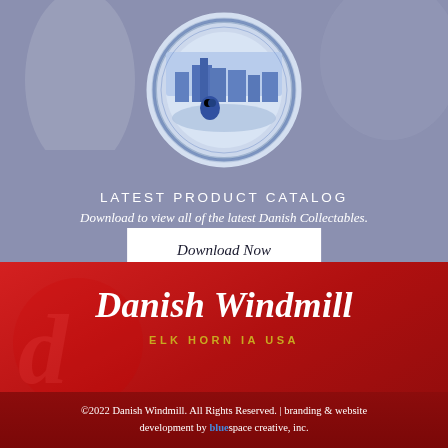[Figure (photo): Blue and white decorative Danish collectible plate with a city/cathedral scene, shown against a muted blue-grey background with soft objects out of focus behind it.]
LATEST PRODUCT CATALOG
Download to view all of the latest Danish Collectables.
Download Now
Danish Windmill
ELK HORN IA USA
©2022 Danish Windmill. All Rights Reserved. | branding & website development by bluespace creative, inc.